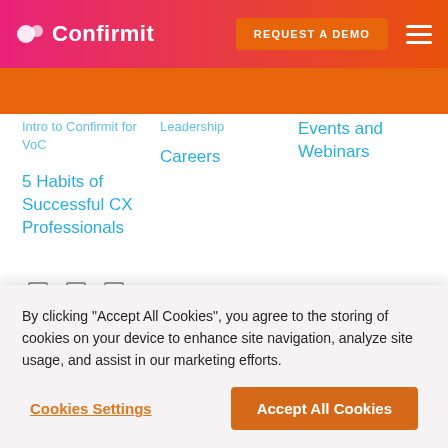Confirmit — REQUEST A DEMO
Intro to Confirmit for VoC
5 Habits of Successful CX Professionals
Leadership
Careers
Events and Webinars
[Figure (illustration): Three social media icon placeholders (outline rectangles)]
Do not sell my personal information
By clicking "Accept All Cookies", you agree to the storing of cookies on your device to enhance site navigation, analyze site usage, and assist in our marketing efforts.
Cookies Settings
Accept All Cookies